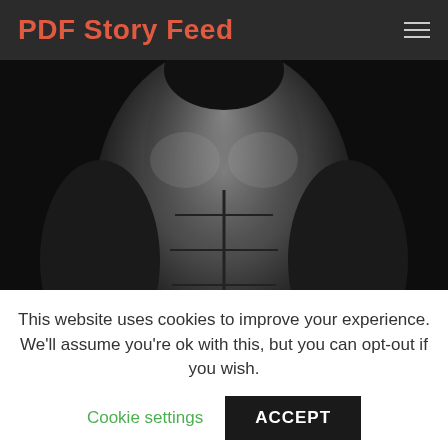PDF Story Feed
[Figure (photo): Black and white photo of a muscular male torso with the word RELEASE partially visible at the bottom, used as a book cover image]
This website uses cookies to improve your experience. We'll assume you're ok with this, but you can opt-out if you wish. Cookie settings ACCEPT